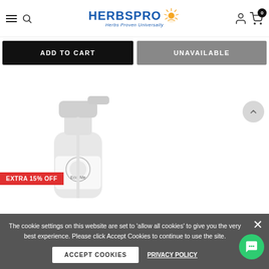HerbsPro - Herbs Proven Universally
ADD TO CART
UNAVAILABLE
EXTRA 15% OFF
[Figure (photo): Product image - white pump bottle with label]
The cookie settings on this website are set to 'allow all cookies' to give you the very best experience. Please click Accept Cookies to continue to use the site.
ACCEPT COOKIES
PRIVACY POLICY